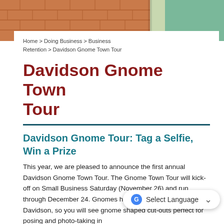[Figure (photo): Decorative header photo strip showing brick wall and greenery/plants background]
Home > Doing Business > Business Retention > Davidson Gnome Town Tour
Davidson Gnome Town Tour
Davidson Gnome Tour: Tag a Selfie, Win a Prize
This year, we are pleased to announce the first annual Davidson Gnome Town Tour. The Gnome Town Tour will kick-off on Small Business Saturday (November 26) and run through December 24. Gnomes hold a special place here in Davidson, so you will see gnome shaped cut-outs perfect for posing and photo-taking in